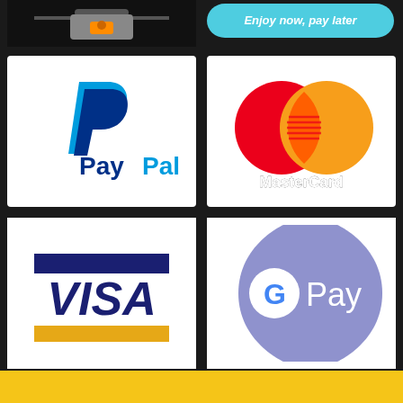[Figure (logo): Secure lock icon on dark background, partial view at top left]
[Figure (logo): Enjoy now, pay later button in cyan/teal rounded rectangle]
[Figure (logo): PayPal logo on white background - blue P symbol and PayPal text]
[Figure (logo): MasterCard logo on white background - overlapping red and orange circles with MasterCard text]
[Figure (logo): Visa logo on white background - VISA text in blue with gold and blue horizontal bars]
[Figure (logo): Google Pay logo on white background - G multicolor icon and Pay text on purple/lavender teardrop shape]